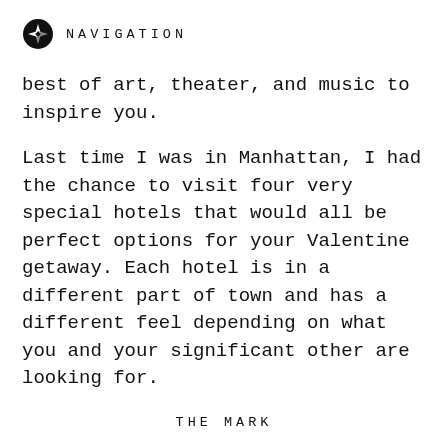NAVIGATION
best of art, theater, and music to inspire you.
Last time I was in Manhattan, I had the chance to visit four very special hotels that would all be perfect options for your Valentine getaway. Each hotel is in a different part of town and has a different feel depending on what you and your significant other are looking for.
THE MARK
Perfect for that classic Upper East side glamour, The Mark hotel on 77th and